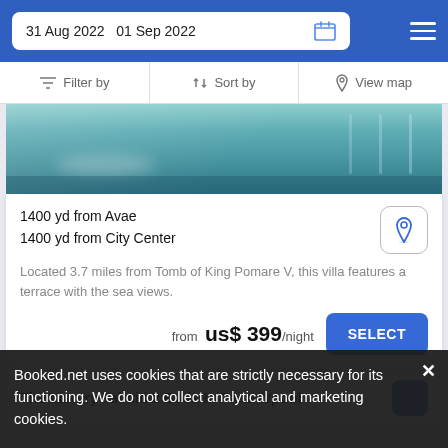31 Aug 2022  01 Sep 2022
Filter by  |  Sort by  |  View map
[Figure (photo): Pool with turquoise water, glass railings, and terrace area viewed from above.]
1400 yd from Avae
1400 yd from City Center
Located 3.7 miles from Tomb of King Pomare V, this villa features a terrace with the sea views.
from  us$ 399/night
SELECT
The Luxury Taimiti 2 Beds In Faaa Wpool
Booked.net uses cookies that are strictly necessary for its functioning. We do not collect analytical and marketing cookies.